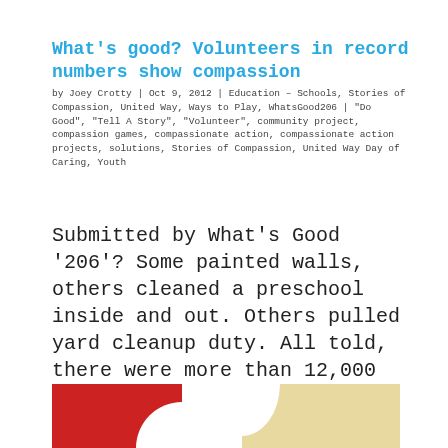What's good? Volunteers in record numbers show compassion
by Joey Crotty | Oct 9, 2012 | Education – Schools, Stories of Compassion, United Way, Ways to Play, WhatsGood206 | "Do Good", "Tell A Story", "Volunteer", community project, compassion games, compassionate action, compassionate action projects, solutions, Stories of Compassion, United Way Day of Caring, Youth
Submitted by What's Good '206'? Some painted walls, others cleaned a preschool inside and out. Others pulled yard cleanup duty. All told, there were more than 12,000 of them — people who came out on Sept. 21, United Way of King County's...
[Figure (illustration): Partial view of two illustrated images at the bottom of the page: left is a red background with a white circular element, right is a tan/beige background with a white curved element.]